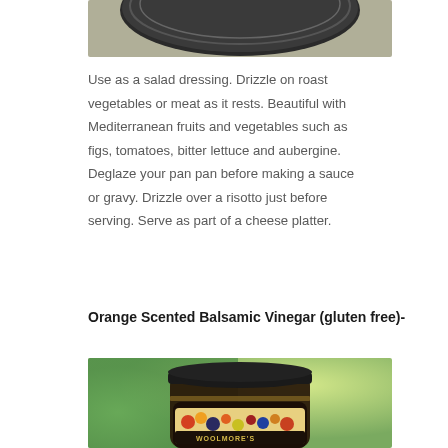[Figure (photo): Bottom portion of a dark jar lid against a muted background, partially cropped at top of page]
Use as a salad dressing. Drizzle on roast vegetables or meat as it rests. Beautiful with Mediterranean fruits and vegetables such as figs, tomatoes, bitter lettuce and aubergine. Deglaze your pan pan before making a sauce or gravy. Drizzle over a risotto just before serving. Serve as part of a cheese platter.
Orange Scented Balsamic Vinegar (gluten free)-
[Figure (photo): A jar of Woolmore's fine foods product with colorful fruit label, black lid, photographed against a blurred green and yellow background]